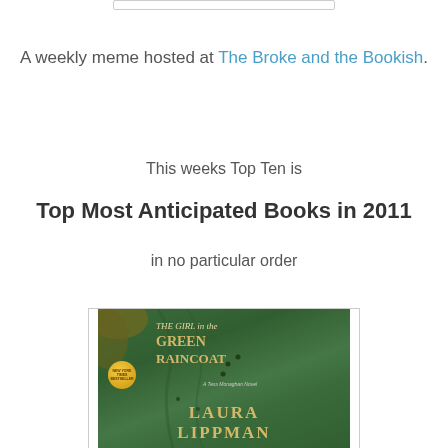A weekly meme hosted at The Broke and the Bookish.
This weeks Top Ten is
Top Most Anticipated Books in 2011
in no particular order
[Figure (photo): Book cover of 'The Girl in the Green Raincoat' by Laura Lippman, showing a green-toned cover with yellow/gold title text and author name]